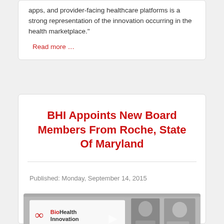apps, and provider-facing healthcare platforms is a strong representation of the innovation occurring in the health marketplace."
Read more …
BHI Appoints New Board Members From Roche, State Of Maryland
Published: Monday, September 14, 2015
[Figure (photo): BioHealth Innovation logo with two headshot photos of board members against a gray background]